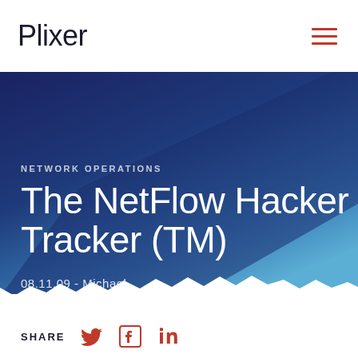Plixer
[Figure (illustration): Dark navy to light blue gradient diagonal banner background with torn paper edge at bottom]
NETWORK OPERATIONS
The NetFlow Hacker Tracker (TM)
08.11.09 - Michael
SHARE